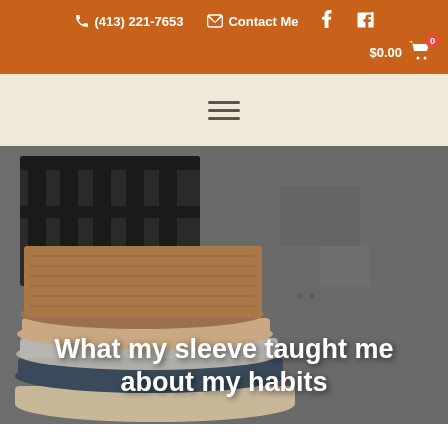(413) 221-7653  Contact Me  f  in  $0.00  0
[Figure (illustration): Navigation bar with hamburger menu icon on beige background]
[Figure (photo): Stack of folded knit sweaters in earthy tones (tan, grey, blue, brown) on a chair against a concrete wall background]
What my sleeve taught me about my habits